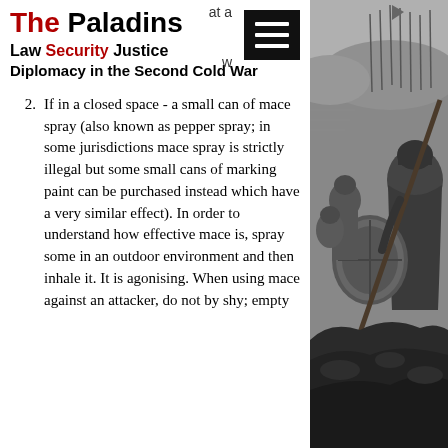The Paladins
Law Security Justice
Diplomacy in the Second Cold War
If in a closed space - a small can of mace spray (also known as pepper spray; in some jurisdictions mace spray is strictly illegal but some small cans of marking paint can be purchased instead which have a very similar effect). In order to understand how effective mace is, spray some in an outdoor environment and then inhale it. It is agonising. When using mace against an attacker, do not by shy; empty
[Figure (illustration): Black and white engraving illustration of medieval knights or soldiers in battle, depicted with spears and armor.]